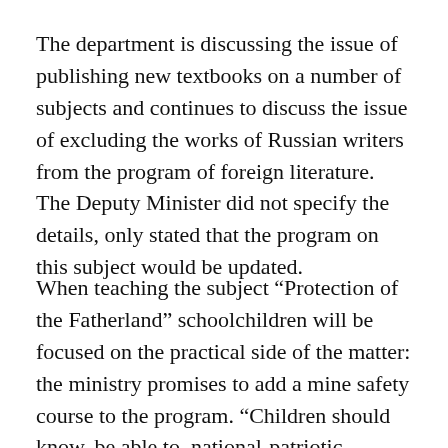The department is discussing the issue of publishing new textbooks on a number of subjects and continues to discuss the issue of excluding the works of Russian writers from the program of foreign literature. The Deputy Minister did not specify the details, only stated that the program on this subject would be updated.
When teaching the subject “Protection of the Fatherland” schoolchildren will be focused on the practical side of the matter: the ministry promises to add a mine safety course to the program. “Children should know, be able to, national-patriotic education will be